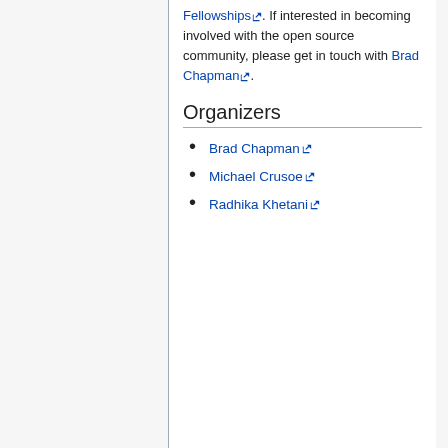Fellowships. If interested in becoming involved with the open source community, please get in touch with Brad Chapman.
Organizers
Brad Chapman
Michael Crusoe
Radhika Khetani
Content is available under Creative Commons Attribution 4.0 International unless otherwise noted.
Privacy policy
About Open Bioinformatics Foundation
Disclaimers
[Figure (logo): Creative Commons BY license logo]
[Figure (logo): Powered by MediaWiki logo]